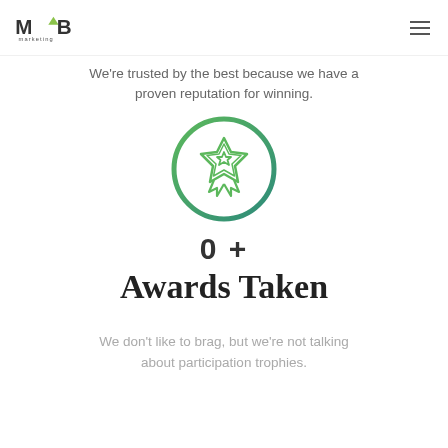MV3 marketing
We're trusted by the best because we have a proven reputation for winning.
[Figure (illustration): Award medal icon inside a green gradient circular border, featuring a star badge with ribbon]
0 +
Awards Taken
We don't like to brag, but we're not talking about participation trophies.